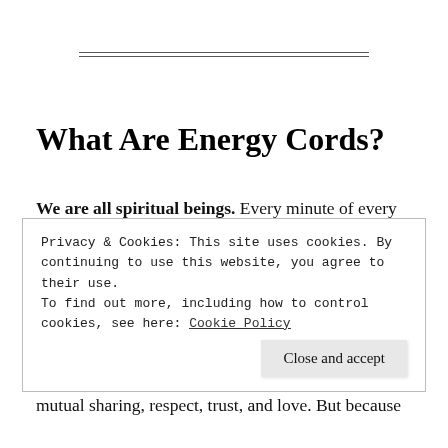What Are Energy Cords?
We are all spiritual beings. Every minute of every day (including when we sleep), we are sharing energy with fellow humans, animals, and nature. Sometimes we can pick up attachments to others that do not serve ours or their highest good. Energetic bonds can happen with any chakra, or multiple
Privacy & Cookies: This site uses cookies. By continuing to use this website, you agree to their use.
To find out more, including how to control cookies, see here: Cookie Policy
Close and accept
mutual sharing, respect, trust, and love. But because